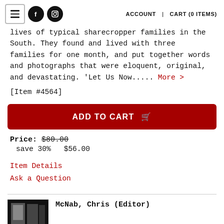ACCOUNT  |  CART (0 ITEMS)
lives of typical sharecropper families in the South. They found and lived with three families for one month, and put together words and photographs that were eloquent, original, and devastating. 'Let Us Now.....  More >
[Item #4564]
ADD TO CART
Price: $80.00
save 30%  $56.00
Item Details
Ask a Question
McNab, Chris (Editor)